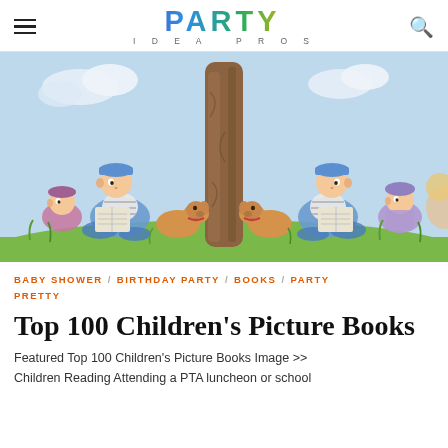PARTY IDEA PROS
[Figure (illustration): Children's book illustration showing two boys reading books while sitting under a tree with a dog, mirrored composition, watercolor style with green grass and blue sky]
BABY SHOWER / BIRTHDAY PARTY / BOOKS / PARTY PRETTY
Top 100 Children's Picture Books
Featured Top 100 Children's Picture Books Image >> Children Reading Attending a PTA luncheon or school